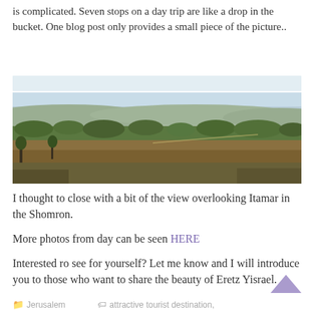is complicated. Seven stops on a day trip are like a drop in the bucket. One blog post only provides a small piece of the picture..
[Figure (photo): Panoramic landscape photo showing a hilly terrain with trees and dry brush in the foreground and hills stretching into the distance under a light sky — view overlooking Itamar in the Shomron.]
I thought to close with a bit of the view overlooking Itamar in the Shomron.
More photos from day can be seen HERE
Interested ro see for yourself? Let me know and I will introduce you to those who want to share the beauty of Eretz Yisrael.
Jerusalem   attractive tourist destination,